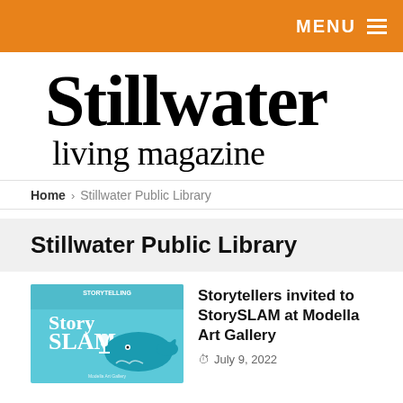MENU
Stillwater living magazine
Home > Stillwater Public Library
Stillwater Public Library
[Figure (illustration): StorySLAM event poster with teal/blue background featuring a whale and microphone graphic]
Storytellers invited to StorySLAM at Modella Art Gallery
July 9, 2022